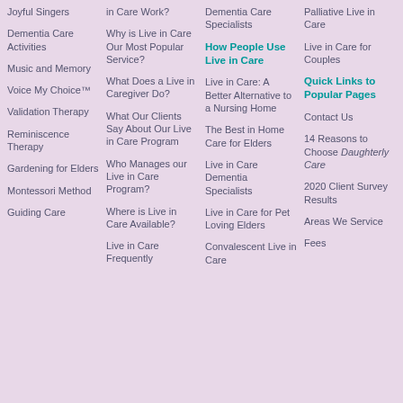Joyful Singers
Dementia Care Activities
Music and Memory
Voice My Choice™
Validation Therapy
Reminiscence Therapy
Gardening for Elders
Montessori Method
Guiding Care
in Care Work?
Why is Live in Care Our Most Popular Service?
What Does a Live in Caregiver Do?
What Our Clients Say About Our Live in Care Program
Who Manages our Live in Care Program?
Where is Live in Care Available?
Live in Care Frequently
Dementia Care Specialists
How People Use Live in Care
Live in Care: A Better Alternative to a Nursing Home
The Best in Home Care for Elders
Live in Care Dementia Specialists
Live in Care for Pet Loving Elders
Convalescent Live in Care
Palliative Live in Care
Live in Care for Couples
Quick Links to Popular Pages
Contact Us
14 Reasons to Choose Daughterly Care
2020 Client Survey Results
Areas We Service
Fees